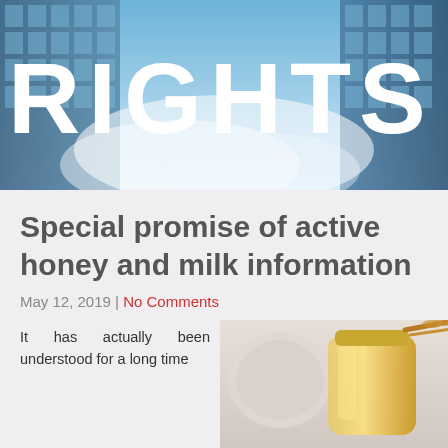[Figure (photo): Header image: tall glass office buildings photographed looking upward against a blue sky with clouds, overlaid with large white bold text 'RIGHTS']
Special promise of active honey and milk information
May 12, 2019 | No Comments
It has actually been understood for a long time
[Figure (photo): Photo of a glass jar of honey with a honey dipper, viewed from above on a light background]